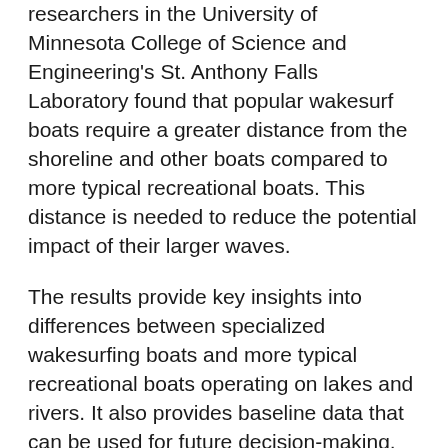researchers in the University of Minnesota College of Science and Engineering's St. Anthony Falls Laboratory found that popular wakesurf boats require a greater distance from the shoreline and other boats compared to more typical recreational boats. This distance is needed to reduce the potential impact of their larger waves.
The results provide key insights into differences between specialized wakesurfing boats and more typical recreational boats operating on lakes and rivers. It also provides baseline data that can be used for future decision-making.
Wakesurfing, which requires a boat capable of generating a large surfing wave, has become a popular pastime for some Minnesotans while sparking concerns